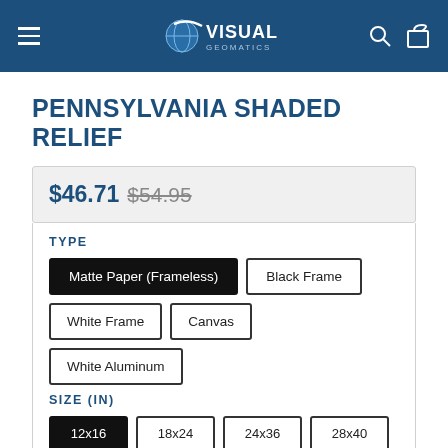Visual Geomatics — navigation header
PENNSYLVANIA SHADED RELIEF
$46.71 $54.95
TYPE
Matte Paper (Frameless)
Black Frame
White Frame
Canvas
White Aluminum
SIZE (IN)
12x16
18x24
24x36
28x40